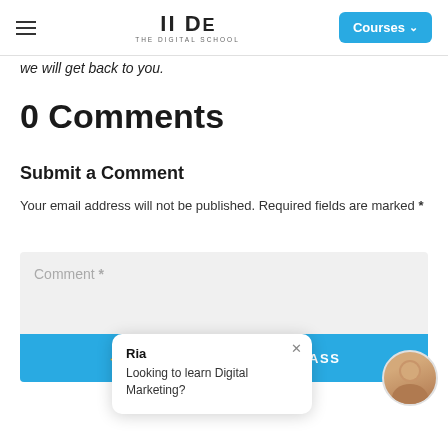IIDE THE DIGITAL SCHOOL | Courses
we will get back to you.
0 Comments
Submit a Comment
Your email address will not be published. Required fields are marked *
Comment *
Ria
Looking to learn Digital Marketing?
JOIN FREE MASTERCLASS